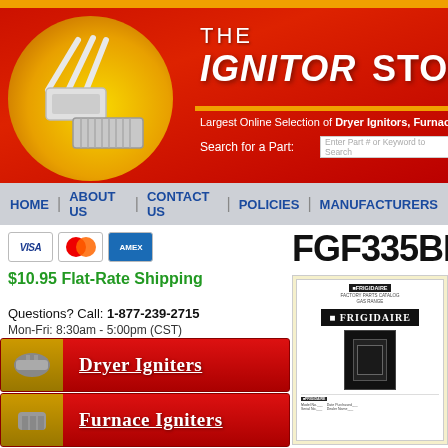[Figure (screenshot): The Ignitor Store website header banner with red background, yellow sunburst circle, ignitor product image, site title 'THE IGNITOR STORE', tagline about largest online selection, and search bar]
HOME | ABOUT US | CONTACT US | POLICIES | MANUFACTURERS
[Figure (logo): Payment method icons: VISA, MasterCard, American Express]
$10.95 Flat-Rate Shipping
Questions? Call: 1-877-239-2715
Mon-Fri: 8:30am - 5:00pm (CST)
[Figure (illustration): Red button: Dryer Igniters category with icon]
[Figure (illustration): Red button: Furnace Igniters category with icon]
[Figure (illustration): Red button: Range Igniters category with icon]
FGF335BEW
[Figure (photo): Frigidaire factory parts catalog cover page showing gas range appliance]